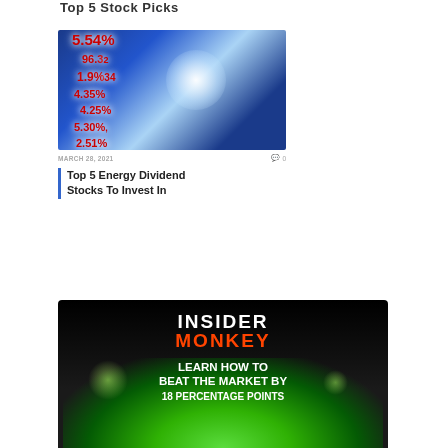Top 5 Stock Picks
[Figure (photo): Stock market display board showing percentage figures in blue and red tones with a bright glare effect]
MARCH 28, 2021   ○ 0
Top 5 Energy Dividend Stocks To Invest In
[Figure (logo): Insider Monkey promotional banner with black background, green glow, and text: INSIDER MONKEY - LEARN HOW TO BEAT THE MARKET BY 18 PERCENTAGE POINTS]